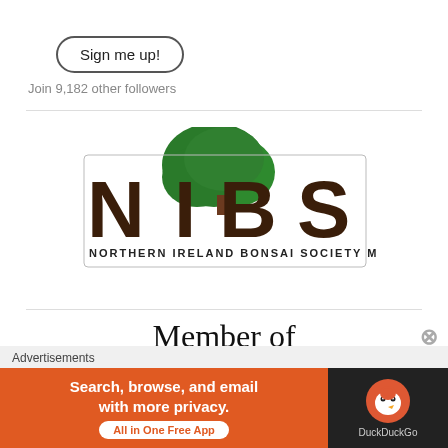Sign me up!
Join 9,182 other followers
[Figure (logo): NIBS Northern Ireland Bonsai Society Member logo — large brown block letters spelling NIBS with a green tree illustration above, and the full name NORTHERN IRELAND BONSAI SOCIETY MEMBER in small caps below]
Member of
Advertisements
[Figure (other): DuckDuckGo advertisement banner: orange left panel with text 'Search, browse, and email with more privacy. All in One Free App' and dark right panel with DuckDuckGo duck logo and DuckDuckGo text]